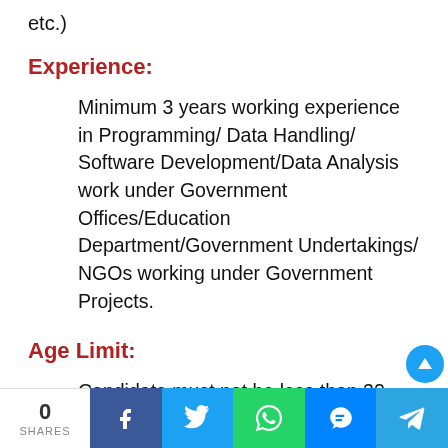etc.)
Experience:
Minimum 3 years working experience in Programming/ Data Handling/ Software Development/Data Analysis work under Government Offices/Education Department/Government Undertakings/ NGOs working under Government Projects.
Age Limit:
Candidate must not be less than 32 years and
0 SHARES